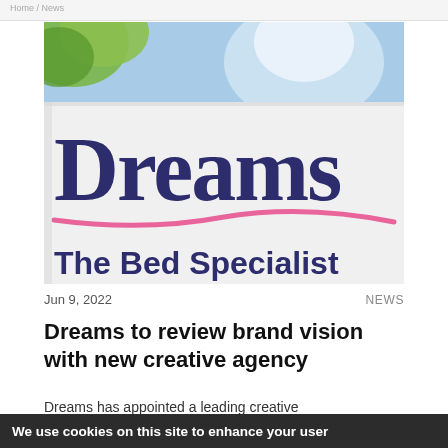Home / News
[Figure (photo): Close-up photo of a Dreams store sign showing the 'Dreams' logo in dark navy blue serif text with a pink swoosh underline, and 'The Bed Specialist' in bold navy text below. Blue sky and green foliage visible in background.]
Jun 9, 2022
NEWS
Dreams to review brand vision with new creative agency
Dreams has appointed a leading creative...
We use cookies on this site to enhance your user